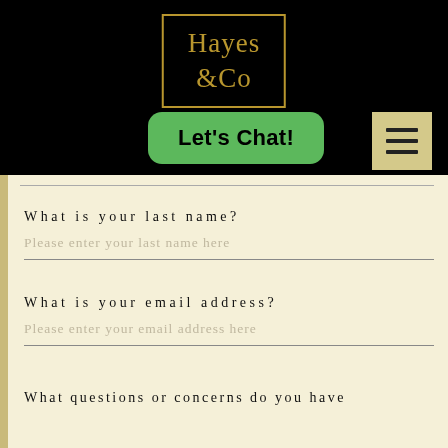[Figure (logo): Hayes & Co logo in gold text on black background with gold border]
[Figure (other): Green rounded button with text 'Let's Chat!']
[Figure (other): Hamburger menu icon on beige/tan background]
What is your last name?
Please enter your last name here
What is your email address?
Please enter your email address here
What questions or concerns do you have